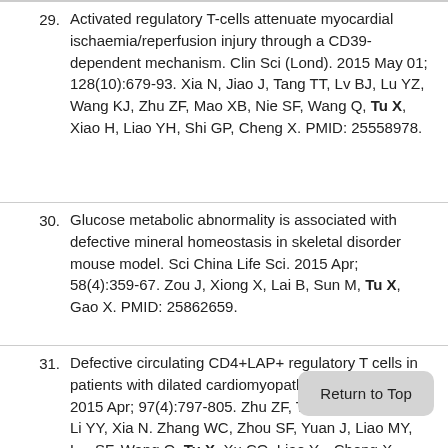29. Activated regulatory T-cells attenuate myocardial ischaemia/reperfusion injury through a CD39-dependent mechanism. Clin Sci (Lond). 2015 May 01; 128(10):679-93. Xia N, Jiao J, Tang TT, Lv BJ, Lu YZ, Wang KJ, Zhu ZF, Mao XB, Nie SF, Wang Q, Tu X, Xiao H, Liao YH, Shi GP, Cheng X. PMID: 25558978.
30. Glucose metabolic abnormality is associated with defective mineral homeostasis in skeletal disorder mouse model. Sci China Life Sci. 2015 Apr; 58(4):359-67. Zou J, Xiong X, Lai B, Sun M, Tu X, Gao X. PMID: 25862659.
31. Defective circulating CD4+LAP+ regulatory T cells in patients with dilated cardiomyopathy. J Leukoc Biol. 2015 Apr; 97(4):797-805. Zhu ZF, Tang TT, Dong WY, Li YY, Xia N, Zhang WC, Zhou SF, Yuan J, Liao MY, L... SF, Wang Q, Tu X, Xu CQ, Liao Y... Cheng X. PMID: 25722319.